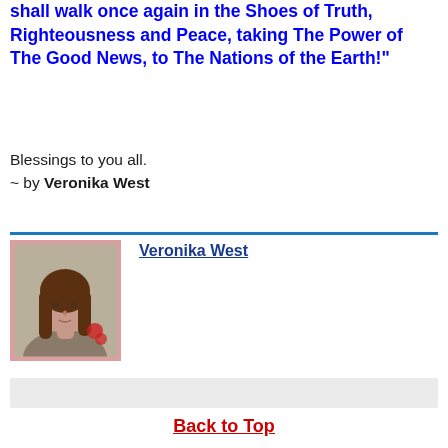shall walk once again in the Shoes of Truth, Righteousness and Peace, taking The Power of The Good News, to The Nations of the Earth!"
Blessings to you all.
~ by Veronika West
[Figure (photo): Portrait photo of Veronika West, a woman with long brown hair, with a pink/red flower visible in background]
Veronika West
Back to Top